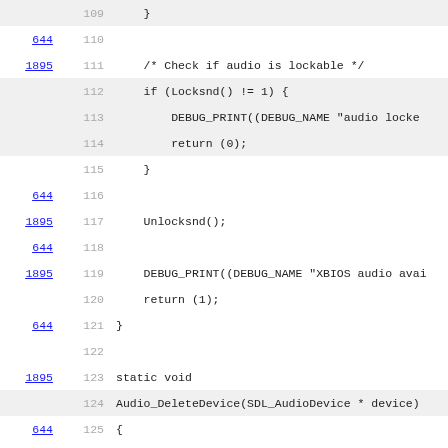[Figure (screenshot): Source code viewer showing lines 109-131 of a C file implementing audio device functions for SDL/XBIOS. Lines have reference numbers (644, 1895, 1336) in left column and line numbers 109-131 in second column. Code includes Locksnd/Unlocksnd calls, DEBUG_PRINT macros, return statements, and Audio_DeleteDevice/Audio_CreateDevice function definitions.]